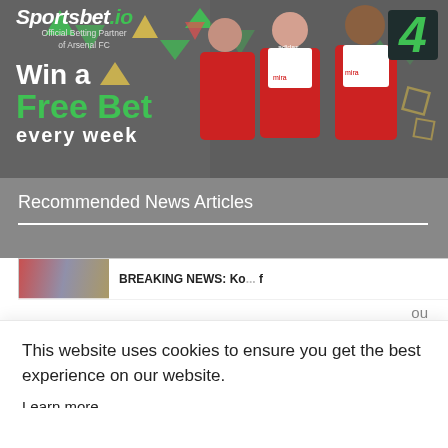[Figure (photo): Sportsbet.io advertisement banner showing Arsenal FC players wearing red jerseys. Text reads: Sportsbet.io Official Betting Partner of Arsenal FC, Win a Free Bet every week. Large green number 4 in corner.]
Recommended News Articles
[Figure (screenshot): Partially visible news article thumbnail with text BREAKING NEWS... partially visible]
ou
This website uses cookies to ensure you get the best experience on our website.
Learn more
Got it!